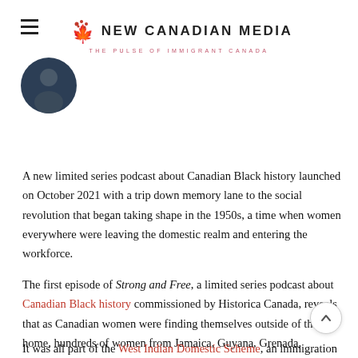NEW CANADIAN MEDIA — THE PULSE OF IMMIGRANT CANADA
[Figure (photo): Circular profile photo of a person with dark hair against a dark background]
A new limited series podcast about Canadian Black history launched on October 2021 with a trip down memory lane to the social revolution that began taking shape in the 1950s, a time when women everywhere were leaving the domestic realm and entering the workforce.
The first episode of Strong and Free, a limited series podcast about Canadian Black history commissioned by Historica Canada, reveals that as Canadian women were finding themselves outside of the home, hundreds of women from Jamaica, Guyana, Grenada, Trinidad, Barbados, and other Caribbean nations were coming into those same homes as domestic workers.
It was all part of the West Indian Domestic Scheme, an immigration